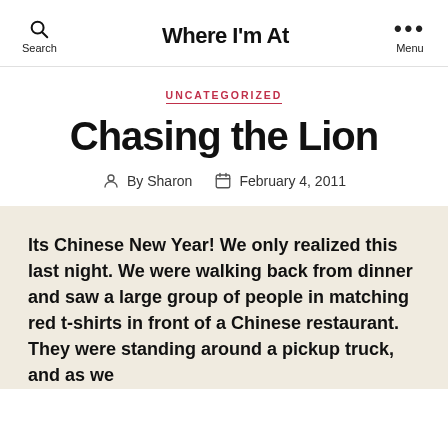Where I'm At
UNCATEGORIZED
Chasing the Lion
By Sharon   February 4, 2011
Its Chinese New Year! We only realized this last night. We were walking back from dinner and saw a large group of people in matching red t-shirts in front of a Chinese restaurant. They were standing around a pickup truck, and as we